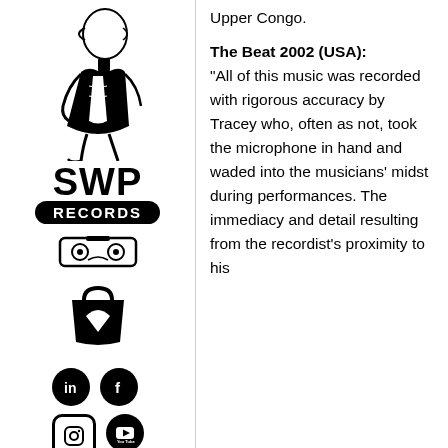[Figure (illustration): Black and white line drawing of a stylized human figure with a bird-like head, side profile, wearing a vest-like top, used as a logo/mascot for SWP Records]
SWP
RECORDS
[Figure (illustration): Icon of a cassette tape]
[Figure (illustration): Icon of a shopping bag with a heart/play symbol]
[Figure (logo): Social media icons: LinkedIn, Facebook, Instagram, YouTube]
Upper Congo.
The Beat 2002 (USA): "All of this music was recorded with rigorous accuracy by Tracey who, often as not, took the microphone in hand and waded into the musicians' midst during performances. The immediacy and detail resulting from the recordist's proximity to his